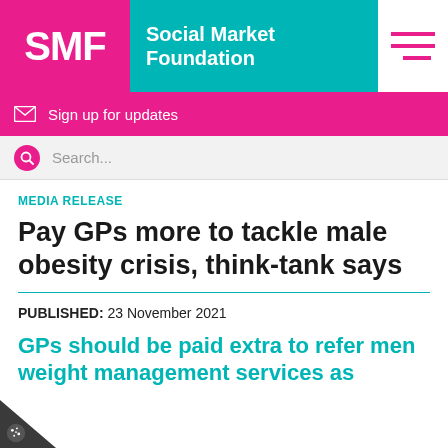[Figure (logo): SMF Social Market Foundation logo with pink SMF box and teal Social Market Foundation text box, plus hamburger menu icon]
Sign up for updates
Search...
MEDIA RELEASE
Pay GPs more to tackle male obesity crisis, think-tank says
PUBLISHED:  23 November 2021
GPs should be paid extra to refer men weight management services as